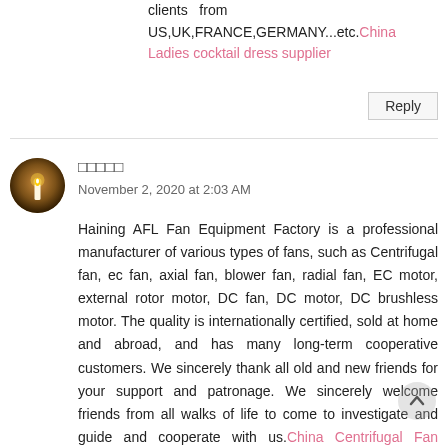clients from US,UK,FRANCE,GERMANY...etc. China Ladies cocktail dress supplier
Reply
□□□□□
November 2, 2020 at 2:03 AM
Haining AFL Fan Equipment Factory is a professional manufacturer of various types of fans, such as Centrifugal fan, ec fan, axial fan, blower fan, radial fan, EC motor, external rotor motor, DC fan, DC motor, DC brushless motor. The quality is internationally certified, sold at home and abroad, and has many long-term cooperative customers. We sincerely thank all old and new friends for your support and patronage. We sincerely welcome friends from all walks of life to come to investigate and guide and cooperate with us. China Centrifugal Fan supplier